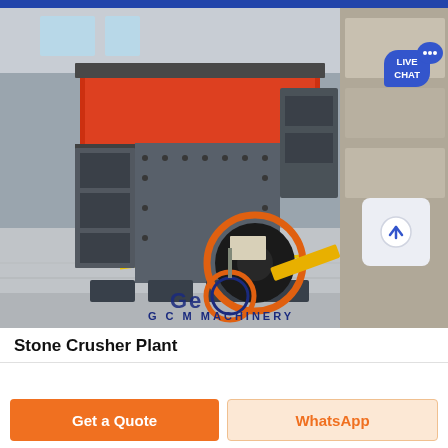[Figure (photo): Stone crusher machine (impact crusher) in an industrial warehouse/showroom. Large heavy grey metal machine with open top cavity showing red interior, multiple bolted panels, and a belt pulley drive system. GCM Machinery watermark and logo visible. Live Chat bubble in top right corner.]
Stone Crusher Plant
Get a Quote
WhatsApp